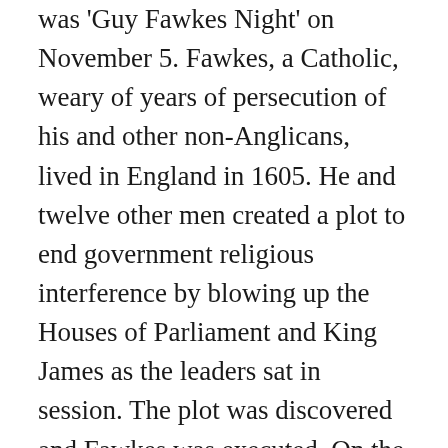was 'Guy Fawkes Night' on November 5. Fawkes, a Catholic, weary of years of persecution of his and other non-Anglicans, lived in England in 1605. He and twelve other men created a plot to end government religious interference by blowing up the Houses of Parliament and King James as the leaders sat in session. The plot was discovered and Fawkes was executed. On the anniversary of his death, citizens of England had parades, bonfires and fireworks to commemorate his capture. The day was celebrated in the English colonies and some of the practices became part of Halloween in America. Soaping windows, removing gates from hinges and other minor acts of vandalism mimicked the actions of young English pranksters. Some of the inhabitants of the British Isles believed fairies, elves, leprechauns and witches came out at night on October 31...